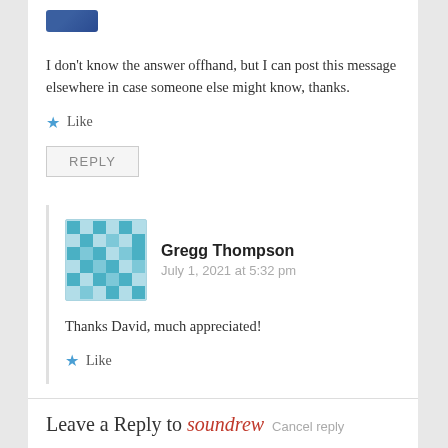[Figure (logo): Small blue avatar/logo image at the top]
I don't know the answer offhand, but I can post this message elsewhere in case someone else might know, thanks.
Like
REPLY
[Figure (illustration): Teal/light blue pixelated avatar for Gregg Thompson]
Gregg Thompson
July 1, 2021 at 5:32 pm
Thanks David, much appreciated!
Like
Leave a Reply to soundrew Cancel reply